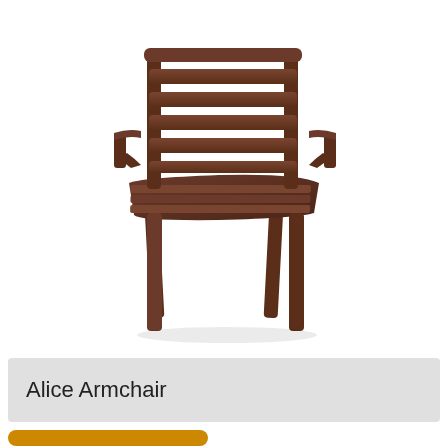[Figure (photo): A brown plastic outdoor armchair (Alice Armchair) with horizontal slat backrest, armrests, and four legs, photographed on a white background in a three-quarter perspective view.]
Alice Armchair